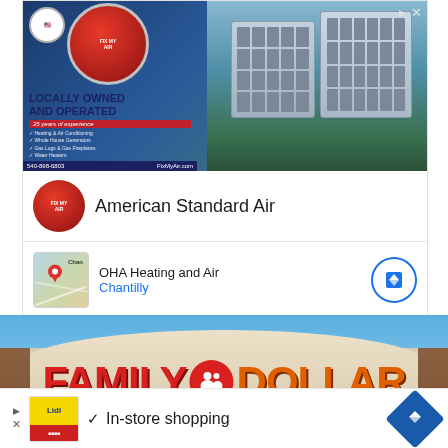[Figure (screenshot): Advertisement for American Standard Air HVAC company. Shows an ad banner with HVAC units, logo, text 'LOCALLY OWNED AND OPERATED', listing of services, phone number 540-898-6803 and FixMyAir.com. Below are two Google ad result rows: one for 'American Standard Air' with company logo, and one for 'OHA Heating and Air' in Chantilly with a map thumbnail and navigation button.]
American Standard Air
OHA Heating and Air
Chantilly
[Figure (photo): Exterior photo of a Family Dollar store with large red 'FAMILY DOLLAR' sign on beige/tan building facade with red awning, blue sky background.]
In-store shopping